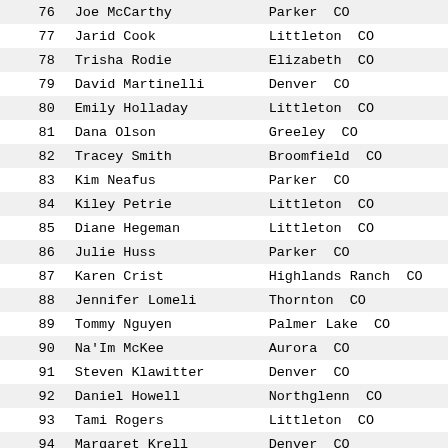| # | Name | Location |
| --- | --- | --- |
| 76 | Joe McCarthy | Parker  CO |
| 77 | Jarid Cook | Littleton  CO |
| 78 | Trisha Rodie | Elizabeth  CO |
| 79 | David Martinelli | Denver  CO |
| 80 | Emily Holladay | Littleton  CO |
| 81 | Dana Olson | Greeley  CO |
| 82 | Tracey Smith | Broomfield  CO |
| 83 | Kim Neafus | Parker  CO |
| 84 | Kiley Petrie | Littleton  CO |
| 85 | Diane Hegeman | Littleton  CO |
| 86 | Julie Huss | Parker  CO |
| 87 | Karen Crist | Highlands Ranch  CO |
| 88 | Jennifer Lomeli | Thornton  CO |
| 89 | Tommy Nguyen | Palmer Lake  CO |
| 90 | Na'Im McKee | Aurora  CO |
| 91 | Steven Klawitter | Denver  CO |
| 92 | Daniel Howell | Northglenn  CO |
| 93 | Tami Rogers | Littleton  CO |
| 94 | Margaret Krell | Denver  CO |